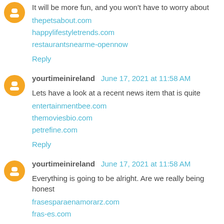It will be more fun, and you won't have to worry about
thepetsabout.com
happylifestyletrends.com
restaurantsnearme-opennow
Reply
yourtimeinireland  June 17, 2021 at 11:58 AM
Lets have a look at a recent news item that is quite
entertainmentbee.com
themoviesbio.com
petrefine.com
Reply
yourtimeinireland  June 17, 2021 at 11:58 AM
Everything is going to be alright. Are we really being honest
frasesparaenamorarz.com
fras-es.com